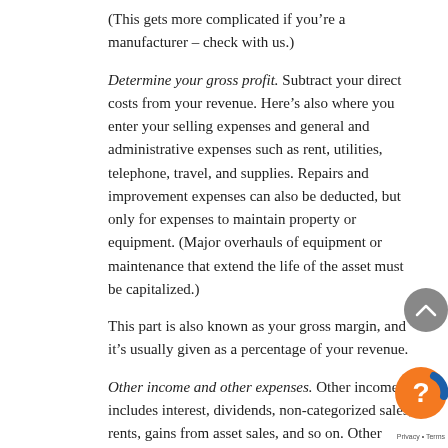(This gets more complicated if you’re a manufacturer – check with us.)
Determine your gross profit. Subtract your direct costs from your revenue. Here’s also where you enter your selling expenses and general and administrative expenses such as rent, utilities, telephone, travel, and supplies. Repairs and improvement expenses can also be deducted, but only for expenses to maintain property or equipment. (Major overhauls of equipment or maintenance that extend the life of the asset must be capitalized.)
This part is also known as your gross margin, and it’s usually given as a percentage of your revenue.
Other income and other expenses. Other income includes interest, dividends, non-categorized sales, rents, gains from asset sales, and so on. Other expenses can be unexpected losses unrelated to your normal business. Add the two items to get these amounts.